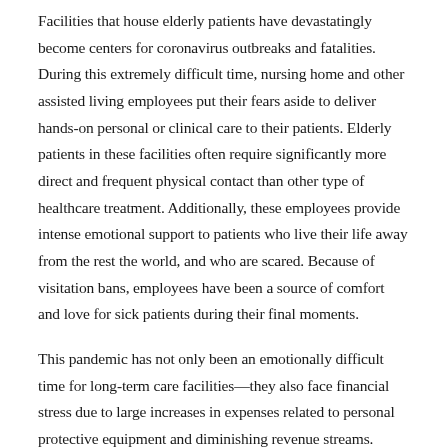Facilities that house elderly patients have devastatingly become centers for coronavirus outbreaks and fatalities. During this extremely difficult time, nursing home and other assisted living employees put their fears aside to deliver hands-on personal or clinical care to their patients. Elderly patients in these facilities often require significantly more direct and frequent physical contact than other type of healthcare treatment. Additionally, these employees provide intense emotional support to patients who live their life away from the rest the world, and who are scared. Because of visitation bans, employees have been a source of comfort and love for sick patients during their final moments.
This pandemic has not only been an emotionally difficult time for long-term care facilities—they also face financial stress due to large increases in expenses related to personal protective equipment and diminishing revenue streams.